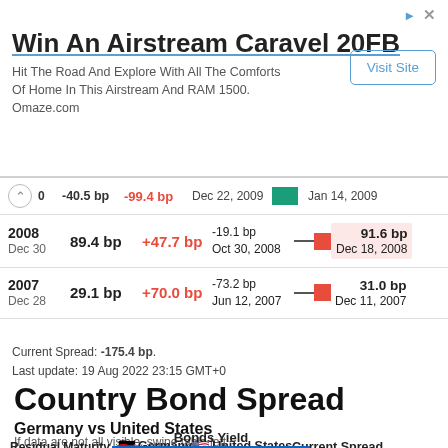[Figure (screenshot): Advertisement banner for Win An Airstream Caravel 20FB with Visit Site button]
| Year/Date | Spread | Change | Min | Chart | Max |
| --- | --- | --- | --- | --- | --- |
|  | -40.5 bp | -99.4 bp | Dec 22, 2009 |  | Jan 14, 2009 |
| 2008
Dec 30 | 89.4 bp | +47.7 bp | -19.1 bp
Oct 30, 2008 |  | 91.6 bp
Dec 18, 2008 |
| 2007
Dec 28 | 29.1 bp | +70.0 bp | -73.2 bp
Jun 12, 2007 |  | 31.0 bp
Dec 11, 2007 |
Current Spread: -175.4 bp.
Last update: 19 Aug 2022 23:15 GMT+0
Country Bond Spread
Germany vs United States
If data are not all visible, swipe table left
| Residual Maturity | Germany | United States | Current Spread |
| --- | --- | --- | --- |